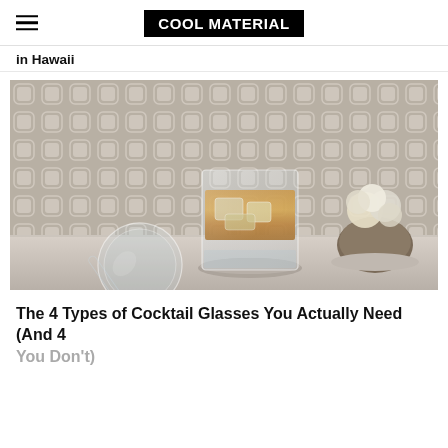COOL MATERIAL
in Hawaii
[Figure (photo): Two old fashioned / rocks glasses on a marble surface — one upright with whiskey and ice cubes, one lying on its side, against a decorative geometric patterned background with a floral arrangement in a stone pot to the right.]
The 4 Types of Cocktail Glasses You Actually Need (And 4 You Don't)